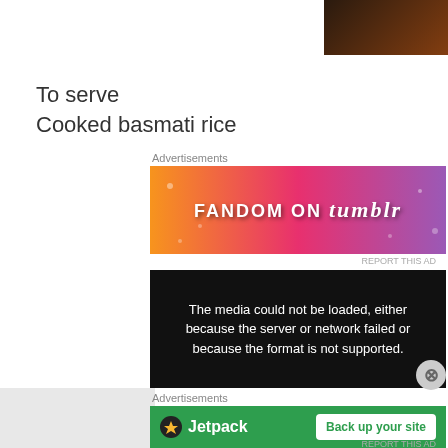[Figure (photo): Partial photo of food, dark brownish tones, top portion visible]
To serve
Cooked basmati rice
Advertisements
[Figure (infographic): Fandom on Tumblr advertisement banner with orange-pink-purple gradient background]
REPORT THIS AD
[Figure (screenshot): Video player showing error message: The media could not be loaded, either because the server or network failed or because the format is not supported.]
Advertisements
[Figure (infographic): Jetpack advertisement with green background, Jetpack logo and Back up your site button]